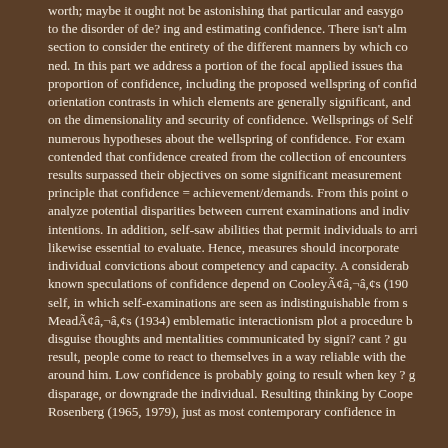worth; maybe it ought not be astonishing that particular and easygo to the disorder of de? ing and estimating confidence. There isn't alm section to consider the entirety of the different manners by which co ned. In this part we address a portion of the focal applied issues tha proportion of confidence, including the proposed wellspring of confid orientation contrasts in which elements are generally significant, an on the dimensionality and security of confidence. Wellsprings of Sel numerous hypotheses about the wellspring of confidence. For exam contended that confidence created from the collection of encounter results surpassed their objectives on some significant measurement principle that confidence = achievement/demands. From this point o analyze potential disparities between current examinations and ind intentions. In addition, self-saw abilities that permit individuals to ar likewise essential to evaluate. Hence, measures should incorporate individual convictions about competency and capacity. A considerab known speculations of confidence depend on CooleyÃ¢â,¬â,¢s (190 self, in which self-examinations are seen as indistinguishable from s MeadÃ¢â,¬â,¢s (1934) emblematic interactionism plot a procedure disguise thoughts and mentalities communicated by signi? cant ? gu result, people come to react to themselves in a way reliable with the around him. Low confidence is probably going to result when key ? g disparage, or downgrade the individual. Resulting thinking by Coope Rosenberg (1965, 1979), just as most contemporary confidence in